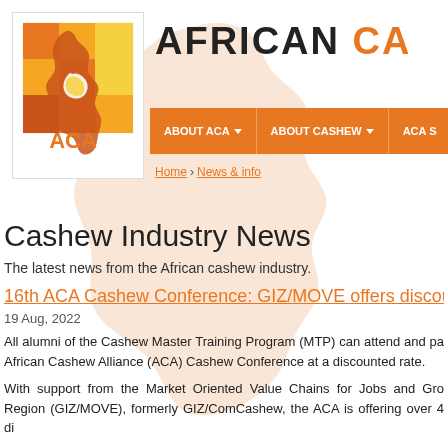[Figure (logo): African Cashew Alliance (ACA) logo: grid of orange/yellow squares with Africa continent shape and cashew nut, with ACA text below]
AFRICAN CA
ABOUT ACA | ABOUT CASHEW | ACA S
Home › News & info
Cashew Industry News
The latest news from the African cashew industry.
16th ACA Cashew Conference: GIZ/MOVE offers discou
19 Aug, 2022
All alumni of the Cashew Master Training Program (MTP) can attend and pa African Cashew Alliance (ACA) Cashew Conference at a discounted rate.
With support from the Market Oriented Value Chains for Jobs and Gro Region (GIZ/MOVE), formerly GIZ/ComCashew, the ACA is offering over 4 di